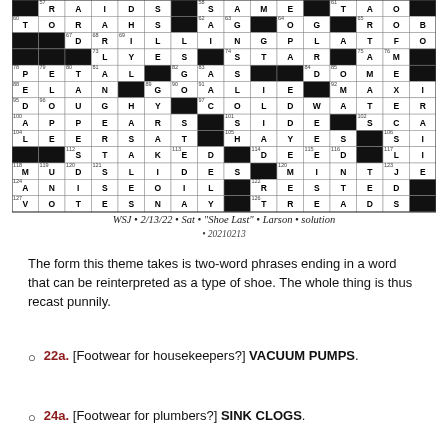[Figure (other): Crossword puzzle solution grid for WSJ 2/13/22 Saturday puzzle titled Shoe Last by Larson. The grid shows filled-in letters with black squares, including answers like RAIDS, SAME, TAO, GHENT, TORAHS, AGOG, ROBE, DRILLINGPLATFORMS, LYES, STAR, AMOEBA, PETAL, GAS, DOME, STRAW, ELAN, GOALIE, MAXI, ETRE, DOUGHY, COLDWATERFLATS, APPEARS, SIDE, SCAR, LEERSAT, HAYES, SITSON, STAKED, DEED, LIMBO, MUDSLIDES, MINTJELLIES, ANISEOIL, RESTED, ELSE, VOTESNAY, TREADS, SEES]
WSJ • 2/13/22 • Sat • "Shoe Last" • Larson • solution
• 20210213
The form this theme takes is two-word phrases ending in a word that can be reinterpreted as a type of shoe. The whole thing is thus recast punnily.
22a. [Footwear for housekeepers?] VACUUM PUMPS.
24a. [Footwear for plumbers?] SINK CLOGS.